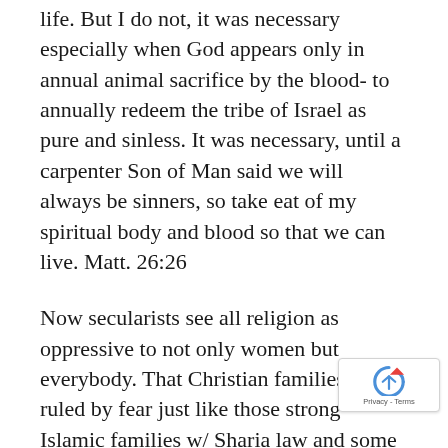life. But I do not, it was necessary especially when God appears only in annual animal sacrifice by the blood- to annually redeem the tribe of Israel as pure and sinless. It was necessary, until a carpenter Son of Man said we will always be sinners, so take eat of my spiritual body and blood so that we can live. Matt. 26:26
Now secularists see all religion as oppressive to not only women but everybody. That Christian families are ruled by fear just like those strong Islamic families w/ Sharia law and some crazed sects circumcising girls. And yes in those fringe Islamic sects- that are secluded tribes- it is grown women brutalizing girls in a cycle. In a tri society, Sandra Roberts would be a prostitute like Mary Magdalene because